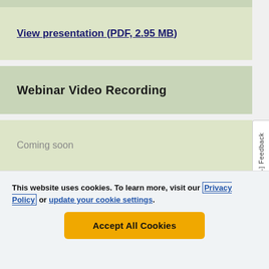View presentation (PDF, 2.95 MB)
Webinar Video Recording
Coming soon
This website uses cookies. To learn more, visit our Privacy Policy or update your cookie settings.
Accept All Cookies